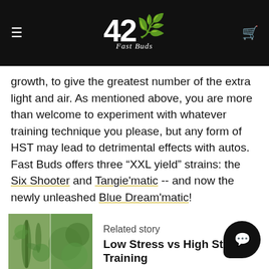42 Fast Buds
growth, to give the greatest number of the extra light and air. As mentioned above, you are more than welcome to experiment with whatever training technique you please, but any form of HST may lead to detrimental effects with autos. Fast Buds offers three “XXL yield” strains: the Six Shooter and Tangie'matic -- and now the newly unleashed Blue Dream'matic!
[Figure (photo): Two cannabis plant photos side by side showing stems and leaves]
Related story
Low Stress vs High Stress Training
RYAN  17 JUNE 2022